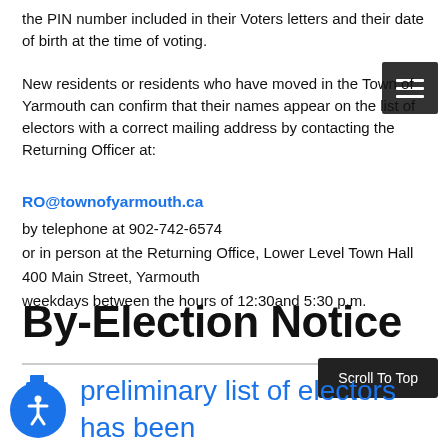the PIN number included in their Voters letters and their date of birth at the time of voting.
New residents or residents who have moved in the Town of Yarmouth can confirm that their names appear on the list of electors with a correct mailing address by contacting the Returning Officer at:
RO@townofyarmouth.ca
by telephone at 902-742-6574
or in person at the Returning Office, Lower Level Town Hall
400 Main Street, Yarmouth
weekdays between the hours of 12:30and 5:30 p.m.
By-Election Notice
preliminary list of electors has been